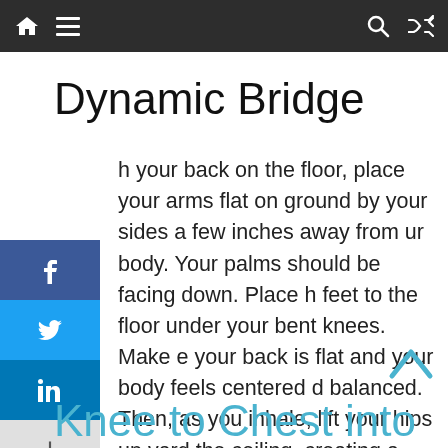Navigation bar with home, menu, search, and shuffle icons
Dynamic Bridge
h your back on the floor, place your arms flat on ground by your sides a few inches away from ur body. Your palms should be facing down. Place h feet to the floor under your bent knees. Make e your back is flat and your body feels centered d balanced. Then, as you inhale, lift your hips up vard the ceiling, creating a straight line from y ur knees, down your thighs, to your chest. Interlock your fingers under your body and shimmy your shoulder blades toward each other to open your chest muscles. Hold for eight deep breaths.
Knee to Chest into Twist